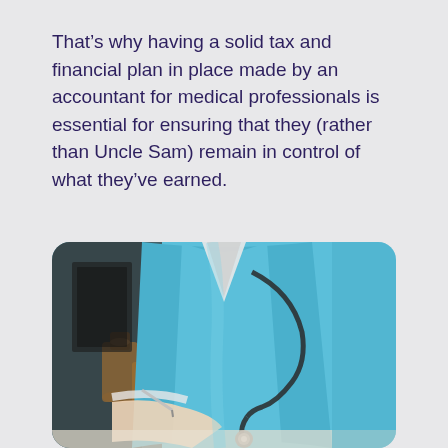That's why having a solid tax and financial plan in place made by an accountant for medical professionals is essential for ensuring that they (rather than Uncle Sam) remain in control of what they've earned.
[Figure (photo): A medical professional in blue scrubs with a stethoscope around their neck, writing at a desk. Brown glass bottles and dark equipment visible in the blurred background.]